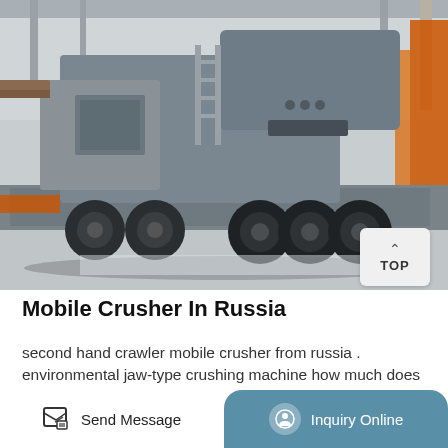[Figure (photo): A large mobile jaw crusher mounted on a heavy-duty truck/trailer, photographed inside an industrial facility. The machine is grey with orange undercarriage components. Multiple heavy-duty wheels are visible.]
Mobile Crusher In Russia
second hand crawler mobile crusher from russia . environmental jaw-type crushing machine how much does it cost in moscow. Second Hand Crawler Mobile Crusher From Russia ,we Ltd is a largesized jointstock enterprise integrated with the scientific research